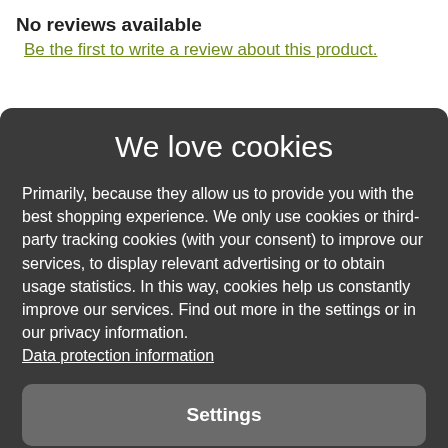No reviews available
Be the first to write a review about this product.
We love cookies
Primarily, because they allow us to provide you with the best shopping experience. We only use cookies or third-party tracking cookies (with your consent) to improve our services, to display relevant advertising or to obtain usage statistics. In this way, cookies help us constantly improve our services. Find out more in the settings or in our privacy information.
Data protection information
Settings
Reject all
Accept all